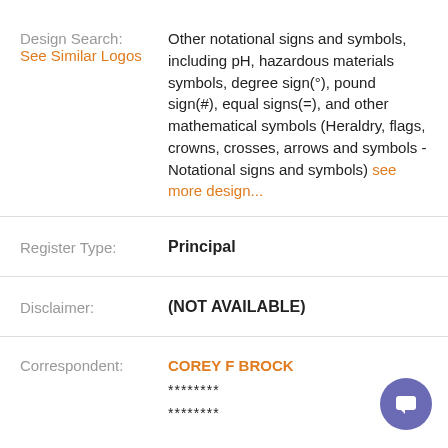Design Search: See Similar Logos — Other notational signs and symbols, including pH, hazardous materials symbols, degree sign(°), pound sign(#), equal signs(=), and other mathematical symbols (Heraldry, flags, crowns, crosses, arrows and symbols - Notational signs and symbols) see more design...
Register Type: Principal
Disclaimer: (NOT AVAILABLE)
Correspondent: COREY F BROCK ******** ********